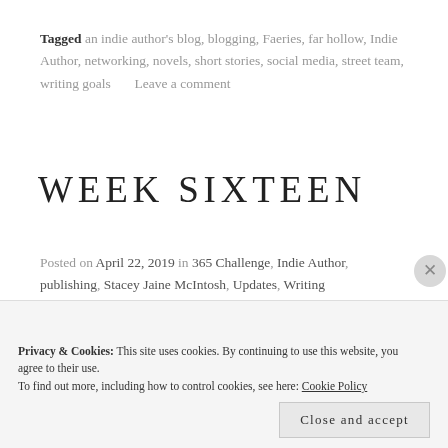Tagged an indie author's blog, blogging, Faeries, far hollow, Indie Author, networking, novels, short stories, social media, street team, writing goals     Leave a comment
WEEK SIXTEEN
Posted on April 22, 2019 in 365 Challenge, Indie Author, publishing, Stacey Jaine McIntosh, Updates, Writing
[Figure (photo): Close-up photo of a dark book spine with gold lettering, and a beige/tan book cover to the right, on a light background.]
Privacy & Cookies: This site uses cookies. By continuing to use this website, you agree to their use. To find out more, including how to control cookies, see here: Cookie Policy
Close and accept